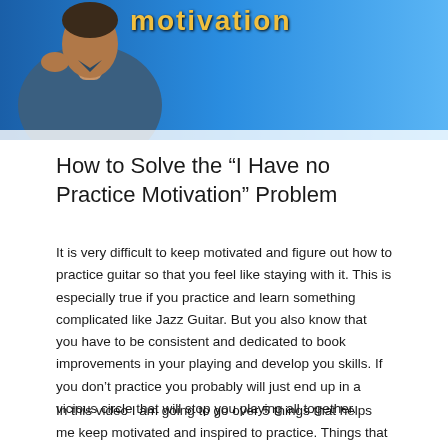[Figure (photo): Banner image showing a man on a blue background, partially visible, appearing to be a guitar instructor or musician. The top portion of a title 'Motivation' is visible in stylized text.]
How to Solve the “I Have no Practice Motivation” Problem
It is very difficult to keep motivated and figure out how to practice guitar so that you feel like staying with it. This is especially true if you practice and learn something complicated like Jazz Guitar. But you also know that you have to be consistent and dedicated to book improvements in your playing and develop you skills. If you don’t practice you probably will just end up in a vicious circle that will stop you playing all together.
In this video I am going to go over 5 things that helps me keep motivated and inspired to practice. Things that are coming from my own experience but also from having taught